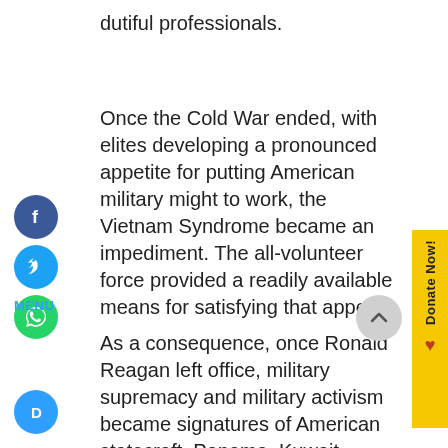dutiful professionals.
Once the Cold War ended, with elites developing a pronounced appetite for putting American military might to work, the Vietnam Syndrome became an impediment. The all-volunteer force provided a readily available means for satisfying that appetite.
As a consequence, once Ronald Reagan left office, military supremacy and military activism became signatures of American statecraft. Panama, Kuwait, Somalia, Haiti,